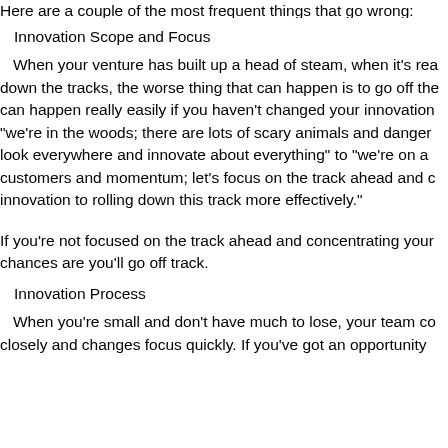Here are a couple of the most frequent things that go wrong:
Innovation Scope and Focus
When your venture has built up a head of steam, when it's realing down the tracks, the worse thing that can happen is to go off the can happen really easily if you haven't changed your innovation "we're in the woods; there are lots of scary animals and danger look everywhere and innovate about everything" to "we're on a customers and momentum; let's focus on the track ahead and c innovation to rolling down this track more effectively."
If you're not focused on the track ahead and concentrating your chances are you'll go off track.
Innovation Process
When you're small and don't have much to lose, your team co closely and changes focus quickly. If you've got an opportunity